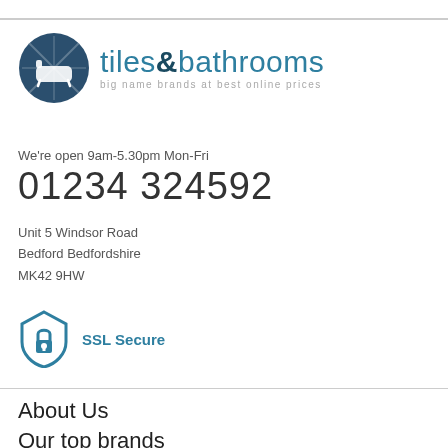[Figure (logo): Tiles & Bathrooms logo: circular dark blue badge with bath icon, text 'tiles&bathrooms' and tagline 'big name brands at best online prices']
We're open 9am-5.30pm Mon-Fri
01234 324592
Unit 5 Windsor Road
Bedford Bedfordshire
MK42 9HW
[Figure (logo): SSL Secure badge: shield icon with padlock, text 'SSL Secure' in blue]
About Us
Our top brands